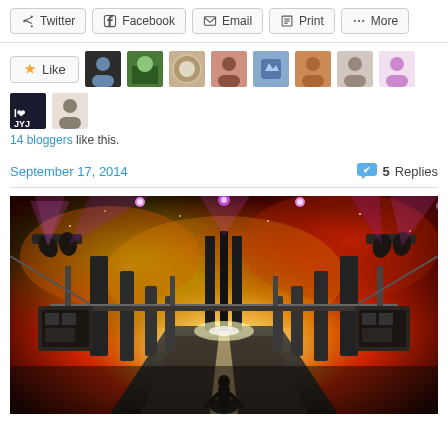Twitter | Facebook | Email | Print | More (share bar)
[Figure (other): Like button with 10 blogger avatar thumbnails]
14 bloggers like this.
September 17, 2014   5 Replies
[Figure (photo): Concert stage photo with dramatic lighting — purple spotlights, fiery orange/red sky backdrop, futuristic stage set with tall dark pillars and mechanical structures, bright central light vanishing point, performer silhouette visible at bottom center]